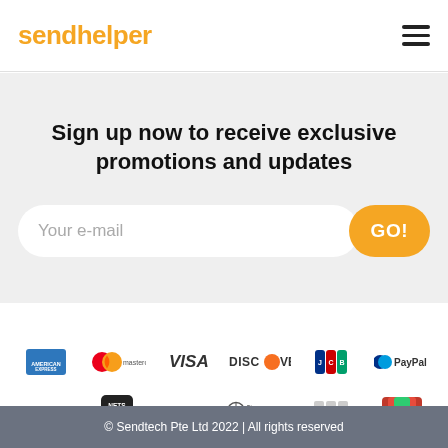sendhelper
Sign up now to receive exclusive promotions and updates
Your e-mail
GO!
[Figure (logo): Payment method logos: American Express, Mastercard, Visa, Discover, JCB, PayPal, PayNow, NETS, GrabPay, Diners Club International, JCB, UnionPay]
© Sendtech Pte Ltd 2022 | All rights reserved